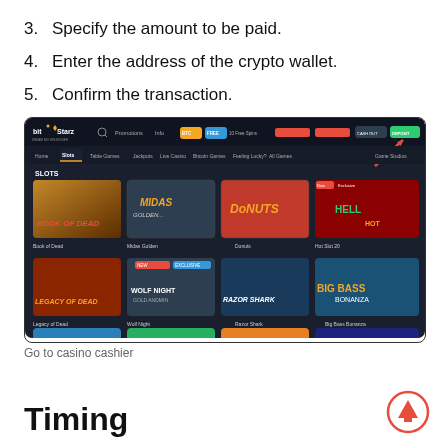3. Specify the amount to be paid.
4. Enter the address of the crypto wallet.
5. Confirm the transaction.
[Figure (screenshot): BitStarz casino website screenshot showing slots page with game thumbnails including Book of Dead, Midas Golden, Donuts, Hot Slot 20, Legacy of Dead, Wolf Night, Razor Shark, Big Bass Bonanza and more. A red arrow points to the DEPOSIT button in the top right corner.]
Go to casino cashier
Timing